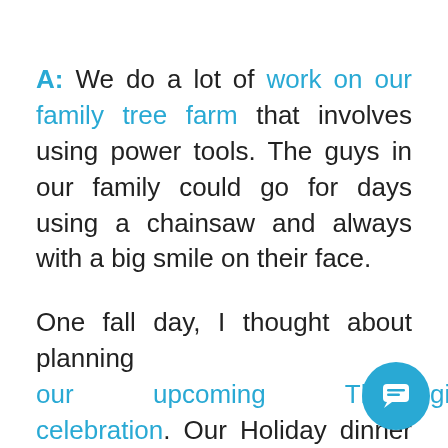A: We do a lot of work on our family tree farm that involves using power tools. The guys in our family could go for days using a chainsaw and always with a big smile on their face.

One fall day, I thought about planning our upcoming Thanksgiving celebration. Our Holiday dinner was a highly anticipated event, especially when my grandfather carved the turkey with the electric knife. Sa[d] my Grandfather is no longer with us,
[Figure (illustration): Blue circular chat bubble button in bottom-right corner]